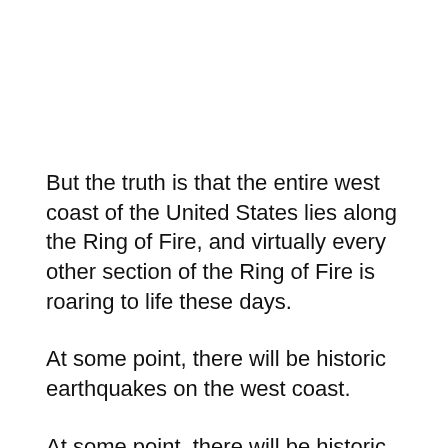But the truth is that the entire west coast of the United States lies along the Ring of Fire, and virtually every other section of the Ring of Fire is roaring to life these days.
At some point, there will be historic earthquakes on the west coast.
At some point, there will be historic volcanic eruptions on the west coast.
Scientists say that the earth is...